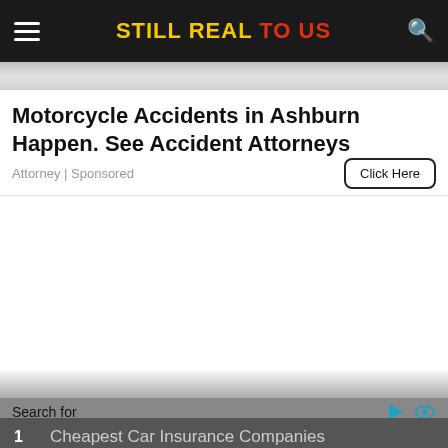STILL REAL TO US
[Figure (screenshot): Blurred/faded image strip below header]
Motorcycle Accidents in Ashburn Happen. See Accident Attorneys
Attorney | Sponsored
Click Here
Search for
1  Cheapest Car Insurance Companies
2  Medicare Part B Cost for 2022